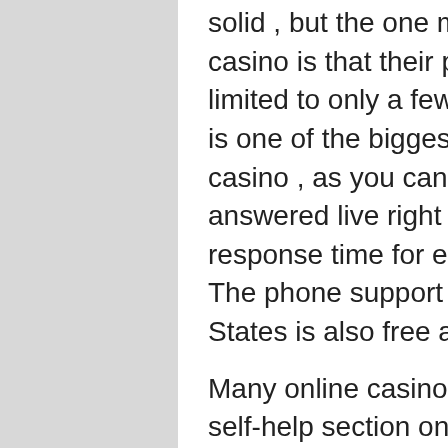solid , but the one main drawback to the casino is that their phone support is limited to only a few countries. Live Chat is one of the biggest advantages to the casino , as you can have any question answered live right away. Still, the response time for e-mails is impressive. The phone support from the United States is also free at Lotus Asia.
Many online casinos these days have a self-help section on their site and Lotus Asia is no different, but they take it a step further. Their Help section at the bottom of the page is packed with helpful info about all facets of the casino from security and how to play the games to how to register and deposit money to bonus and promotion inquiries. There are a decent number of video and classic slots to play at Lotus Asia Casino, with some unique games that you may not find at many other online casinos.
Lotus Asia Casino awards comp points to players, which can then be redeemed for credits in the casino as well as other prizes through what they dub the "Lotus Rewards" system. Note: New Customer Offer. Roulette,